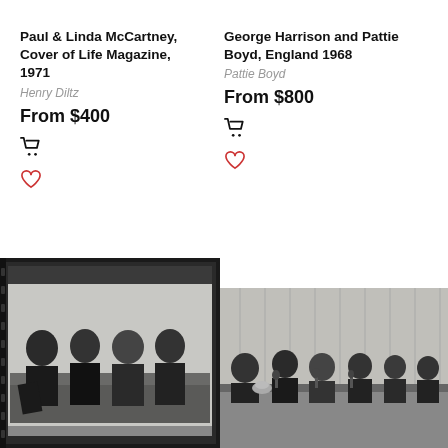Paul & Linda McCartney, Cover of Life Magazine, 1971
Henry Diltz
From $400
George Harrison and Pattie Boyd, England 1968
Pattie Boyd
From $800
[Figure (photo): Black and white photograph of four men (The Beatles) seated on a couch]
[Figure (photo): Black and white photograph of people seated at a press conference table]